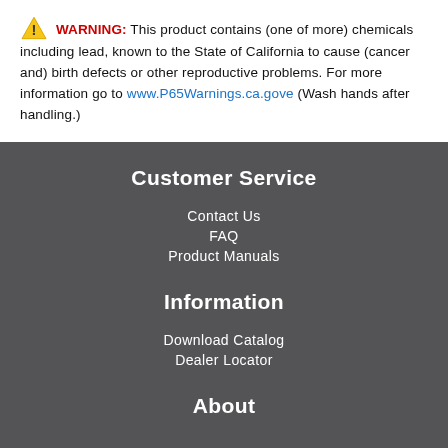⚠ WARNING: This product contains (one of more) chemicals including lead, known to the State of California to cause (cancer and) birth defects or other reproductive problems. For more information go to www.P65Warnings.ca.gove (Wash hands after handling.)
Customer Service
Contact Us
FAQ
Product Manuals
Information
Download Catalog
Dealer Locator
About